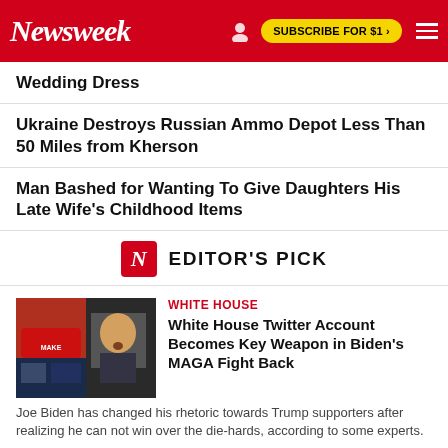Newsweek | SUBSCRIBE FOR $1 >
Wedding Dress
Ukraine Destroys Russian Ammo Depot Less Than 50 Miles from Kherson
Man Bashed for Wanting To Give Daughters His Late Wife's Childhood Items
EDITOR'S PICK
WHITE HOUSE
White House Twitter Account Becomes Key Weapon in Biden's MAGA Fight Back
Joe Biden has changed his rhetoric towards Trump supporters after realizing he can not win over the die-hards, according to some experts.
CLIMATE CHANGE
Global Warming Leaves...